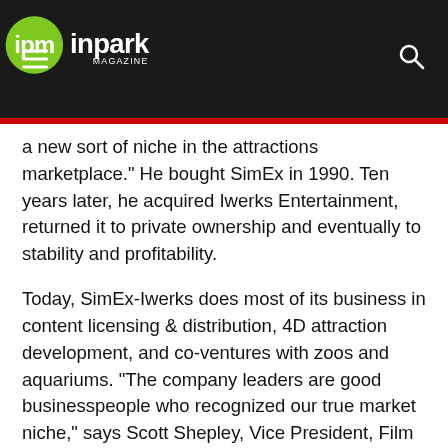ipm inpark MAGAZINE
a new sort of niche in the attractions marketplace." He bought SimEx in 1990. Ten years later, he acquired Iwerks Entertainment, returned it to private ownership and eventually to stability and profitability.
Today, SimEx-Iwerks does most of its business in content licensing & distribution, 4D attraction development, and co-ventures with zoos and aquariums. "The company leaders are good businesspeople who recognized our true market niche," says Scott Shepley, Vice President, Film Post-Production, who started at Iwerks Entertainment more than 20 years ago and has remained with the company through all its transitions.
SimEx-Iwerks has its corporate headquarters and manufacturing in the Toronto area, with a base in Southern California, another in Baltimore and satellite offices overseas. Company revenues are